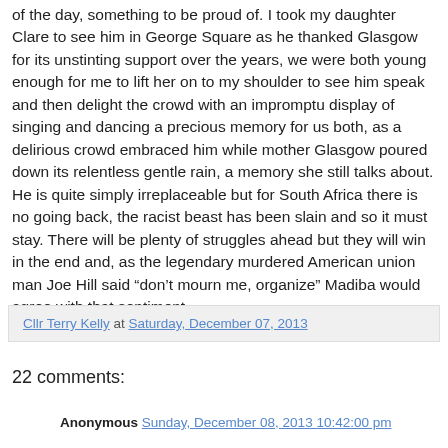of the day, something to be proud of. I took my daughter Clare to see him in George Square as he thanked Glasgow for its unstinting support over the years, we were both young enough for me to lift her on to my shoulder to see him speak and then delight the crowd with an impromptu display of singing and dancing a precious memory for us both, as a delirious crowd embraced him while mother Glasgow poured down its relentless gentle rain, a memory she still talks about. He is quite simply irreplaceable but for South Africa there is no going back, the racist beast has been slain and so it must stay. There will be plenty of struggles ahead but they will win in the end and, as the legendary murdered American union man Joe Hill said “don’t mourn me, organize” Madiba would agree with that sentiment.
Cllr Terry Kelly at Saturday, December 07, 2013
22 comments:
Anonymous Sunday, December 08, 2013 10:42:00 pm